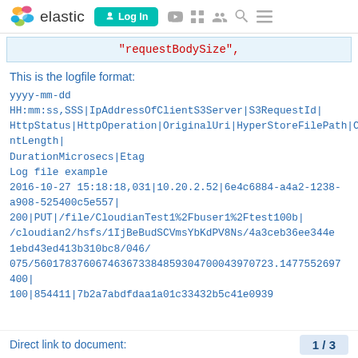elastic | Log In
"requestBodySize",
This is the logfile format:
yyyy-mm-dd HH:mm:ss,SSS|IpAddressOfClientS3Server|S3RequestId|HttpStatus|HttpOperation|OriginalUri|HyperStoreFilePath|ContentLength|
DurationMicrosecs|Etag
Log file example
2016-10-27 15:18:18,031|10.20.2.52|6e4c6884-a4a2-1238-a908-525400c5e557|
200|PUT|/file/CloudianTest1%2Fbuser1%2Ftest100b|
/cloudian2/hsfs/1IjBeBudSCVmsYbKdPV8Ns/4a3ceb36ee344e1ebd43ed413b310bc8/046/
075/560178376067463673384859304700043970723.1477552697400|
100|854411|7b2a7abdfdaa1a01c33432b5c41e0939
Direct link to document:
1 / 3